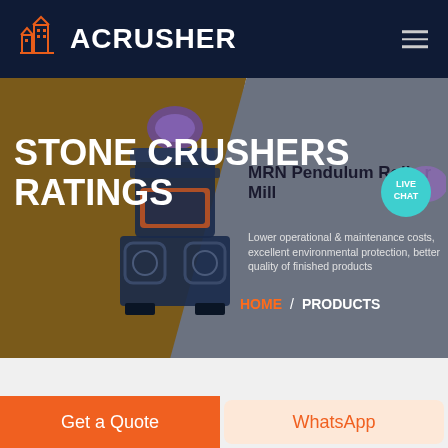ACRUSHER
STONE CRUSHERS RATINGS
MRN Pendulum Roller Mill
Lower operational & maintenance costs, excellent environmental protection, better quality of finished products
HOME / PRODUCTS
[Figure (screenshot): Live Chat button (teal circle) with chat bubble icon]
[Figure (photo): Stone crusher machine (MRN Pendulum Roller Mill) on brown/dark background]
Get a Quote
WhatsApp